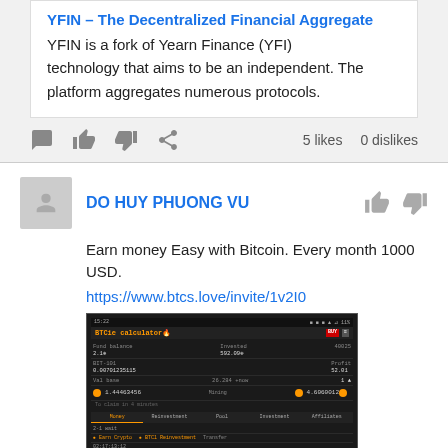YFIN – The Decentralized Financial Aggregate
YFIN is a fork of Yearn Finance (YFI) technology that aims to be an independent. The platform aggregates numerous protocols.
5 likes   0 dislikes
DO HUY PHUONG VU
Earn money Easy with Bitcoin. Every month 1000 USD.
https://www.btcs.love/invite/1v2I0
[Figure (screenshot): Screenshot of a mobile cryptocurrency trading app showing coin balances, transactions, and navigation tabs]